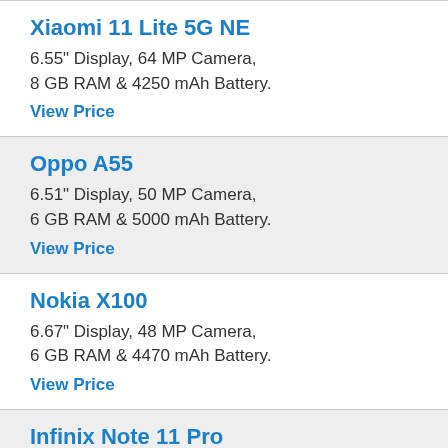Xiaomi 11 Lite 5G NE
6.55" Display, 64 MP Camera, 8 GB RAM & 4250 mAh Battery.
View Price
Oppo A55
6.51" Display, 50 MP Camera, 6 GB RAM & 5000 mAh Battery.
View Price
Nokia X100
6.67" Display, 48 MP Camera, 6 GB RAM & 4470 mAh Battery.
View Price
Infinix Note 11 Pro
6.95" Display, 64 MP Camera, 8 GB RAM & 5000 mAh Battery.